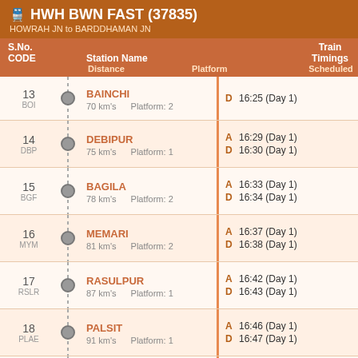HWH BWN FAST (37835) — HOWRAH JN to BARDDHAMAN JN
| S.No. CODE | Station Name / Distance / Platform | Train Timings Scheduled |
| --- | --- | --- |
| 13 BOI | BAINCHI 70 km's Platform: 2 | D 16:25 (Day 1) |
| 14 DBP | DEBIPUR 75 km's Platform: 1 | A 16:29 (Day 1) / D 16:30 (Day 1) |
| 15 BGF | BAGILA 78 km's Platform: 2 | A 16:33 (Day 1) / D 16:34 (Day 1) |
| 16 MYM | MEMARI 81 km's Platform: 2 | A 16:37 (Day 1) / D 16:38 (Day 1) |
| 17 RSLR | RASULPUR 87 km's Platform: 1 | A 16:42 (Day 1) / D 16:43 (Day 1) |
| 18 PLAE | PALSIT 91 km's Platform: 1 | A 16:46 (Day 1) / D 16:47 (Day 1) |
| 19 SKG | SAKTIGARH 95 km's Platform: 1 | A 16:51 (Day 1) / D 16:52 (Day 1) |